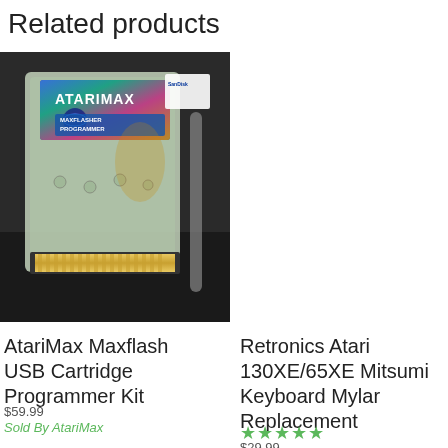Related products
[Figure (photo): AtariMax Maxflash USB Cartridge Programmer device - a transparent plastic cartridge with ATARIMAX and MAXFLASHER PROGRAMMER labels, showing gold edge connectors at the bottom, sitting on a dark surface.]
AtariMax Maxflash USB Cartridge Programmer Kit
$59.99
Sold By AtariMax
Retronics Atari 130XE/65XE Mitsumi Keyboard Mylar Replacement
★★★★★
$29.99